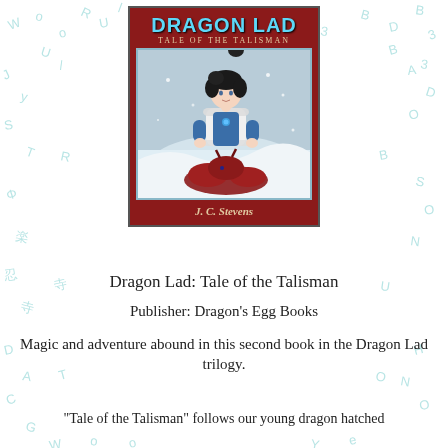[Figure (illustration): Book cover of 'Dragon Lad: Tale of the Talisman' by J.C. Stevens. Dark red background with teal/light blue illustrated title text. Cover image shows an anime-style young person with dark curly hair wearing a white fur-trimmed coat with a blue amulet, kneeling over a red dragon emerging from snow. Border of teal letters scattered on white background around the cover.]
Dragon Lad: Tale of the Talisman
Publisher: Dragon's Egg Books
Magic and adventure abound in this second book in the Dragon Lad trilogy.
“Tale of the Talisman” follows our young dragon hatched